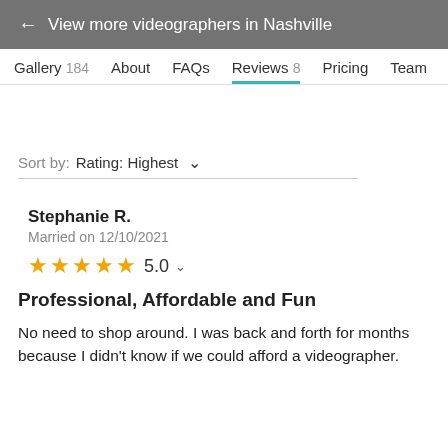← View more videographers in Nashville
Gallery 184   About   FAQs   Reviews 8   Pricing   Team
Sort by:  Rating: Highest
Stephanie R.
Married on 12/10/2021
★★★★★ 5.0
Professional, Affordable and Fun
No need to shop around. I was back and forth for months because I didn't know if we could afford a videographer.